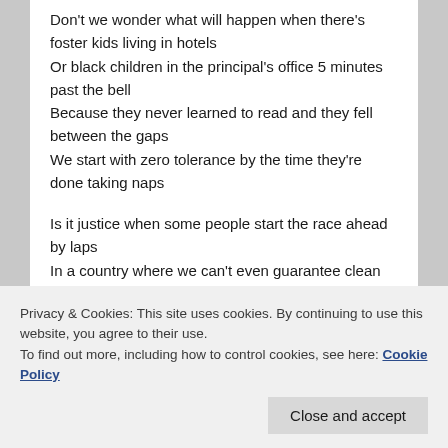Don't we wonder what will happen when there's foster kids living in hotels
Or black children in the principal's office 5 minutes past the bell
Because they never learned to read and they fell between the gaps
We start with zero tolerance by the time they're done taking naps

Is it justice when some people start the race ahead by laps
In a country where we can't even guarantee clean water from the taps
And there's indigenous land under every prison on the
Privacy & Cookies: This site uses cookies. By continuing to use this website, you agree to their use.
To find out more, including how to control cookies, see here: Cookie Policy